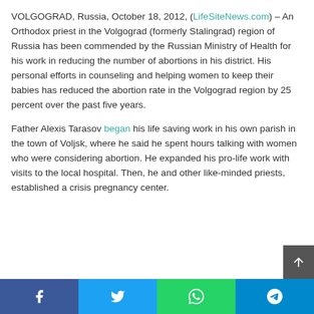VOLGOGRAD, Russia, October 18, 2012, (LifeSiteNews.com) – An Orthodox priest in the Volgograd (formerly Stalingrad) region of Russia has been commended by the Russian Ministry of Health for his work in reducing the number of abortions in his district. His personal efforts in counseling and helping women to keep their babies has reduced the abortion rate in the Volgograd region by 25 percent over the past five years.
Father Alexis Tarasov began his life saving work in his own parish in the town of Voljsk, where he said he spent hours talking with women who were considering abortion. He expanded his pro-life work with visits to the local hospital. Then, he and other like-minded priests, established a crisis pregnancy center.